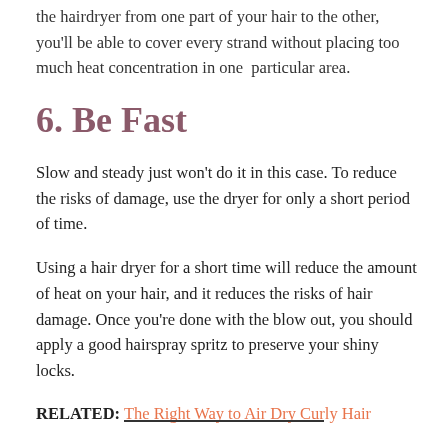the hairdryer from one part of your hair to the other, you'll be able to cover every strand without placing too much heat concentration in one particular area.
6. Be Fast
Slow and steady just won't do it in this case. To reduce the risks of damage, use the dryer for only a short period of time.
Using a hair dryer for a short time will reduce the amount of heat on your hair, and it reduces the risks of hair damage. Once you're done with the blow out, you should apply a good hairspray spritz to preserve your shiny locks.
RELATED: The Right Way to Air Dry Curly Hair